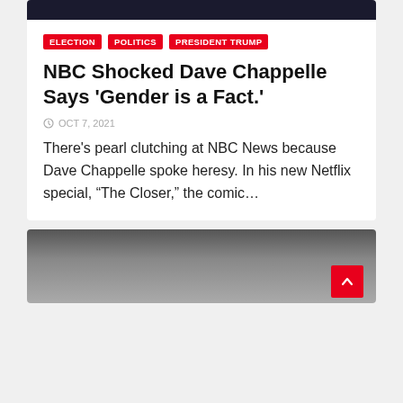[Figure (photo): Dark/black image at top of first article card]
ELECTION
POLITICS
PRESIDENT TRUMP
NBC Shocked Dave Chappelle Says 'Gender is a Fact.'
OCT 7, 2021
There's pearl clutching at NBC News because Dave Chappelle spoke heresy. In his new Netflix special, “The Closer,” the comic…
[Figure (photo): Portrait photo of a woman with long dark hair, partially visible at bottom of page]